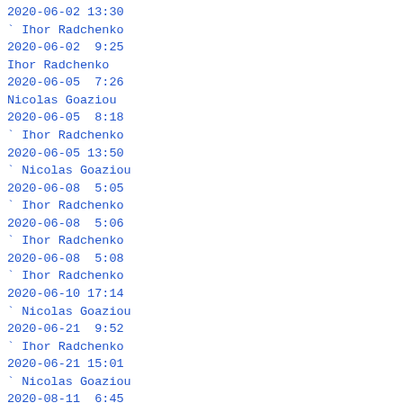2020-06-02 13:30
` Ihor Radchenko
2020-06-02  9:25
Ihor Radchenko
2020-06-05  7:26
Nicolas Goaziou
2020-06-05  8:18
` Ihor Radchenko
2020-06-05 13:50
` Nicolas Goaziou
2020-06-08  5:05
` Ihor Radchenko
2020-06-08  5:06
` Ihor Radchenko
2020-06-08  5:08
` Ihor Radchenko
2020-06-10 17:14
` Nicolas Goaziou
2020-06-21  9:52
` Ihor Radchenko
2020-06-21 15:01
` Nicolas Goaziou
2020-08-11  6:45
` Ihor Radchenko
2020-08-11 23:07
` Kyle Meyer
2020-08-12  6:29
` Ihor Radchenko
2020-09-20  5:53
` Ihor Radchenko